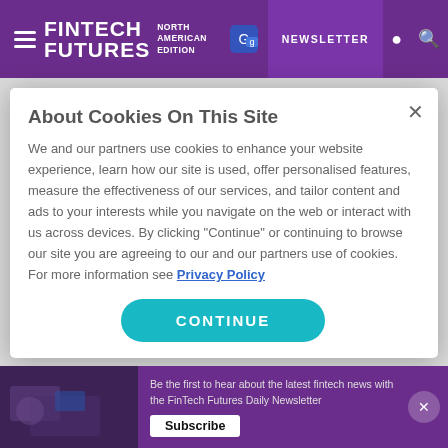FINTECH FUTURES NORTH AMERICAN EDITION | NEWSLETTER
specific concerns of the bank treasury world to consider the broader economic issues that will ultimately shape the banking environment in the coming years. Starting with a look at surging food prices, and linking this worrying trend to rising
About Cookies On This Site
We and our partners use cookies to enhance your website experience, learn how our site is used, offer personalised features, measure the effectiveness of our services, and tailor content and ads to your interests while you navigate on the web or interact with us across devices. By clicking "Continue" or continuing to browse our site you are agreeing to our and our partners use of cookies. For more information see Privacy Policy
CONTINUE
Be the first to hear about the latest fintech news with the FinTech Futures Daily Newsletter
Subscribe